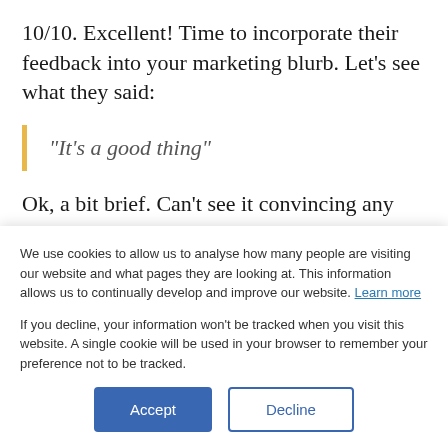10/10. Excellent! Time to incorporate their feedback into your marketing blurb. Let's see what they said:
“It’s a good thing”
Ok, a bit brief. Can’t see it convincing any prospective customers. Maybe we’ll use the next
We use cookies to allow us to analyse how many people are visiting our website and what pages they are looking at. This information allows us to continually develop and improve our website. Learn more
If you decline, your information won’t be tracked when you visit this website. A single cookie will be used in your browser to remember your preference not to be tracked.